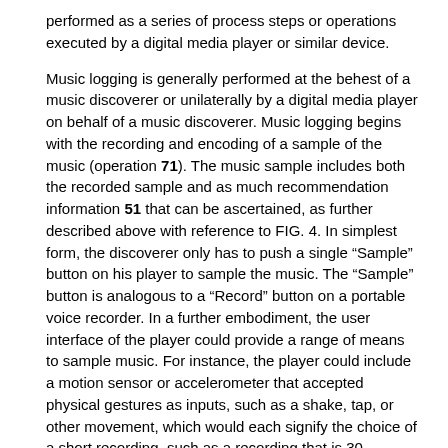performed as a series of process steps or operations executed by a digital media player or similar device.
Music logging is generally performed at the behest of a music discoverer or unilaterally by a digital media player on behalf of a music discoverer. Music logging begins with the recording and encoding of a sample of the music (operation 71). The music sample includes both the recorded sample and as much recommendation information 51 that can be ascertained, as further described above with reference to FIG. 4. In simplest form, the discoverer only has to push a single “Sample” button on his player to sample the music. The “Sample” button is analogous to a “Record” button on a portable voice recorder. In a further embodiment, the user interface of the player could provide a range of means to sample music. For instance, the player could include a motion sensor or accelerometer that accepted physical gestures as inputs, such as a shake, tap, or other movement, which would each signify the choice of a short recording, such as a recording that is 30-seconds long, continuous sampling, or other selection. Physical gestures could also be used to mean “take a sample now.” In addition, for proactive music